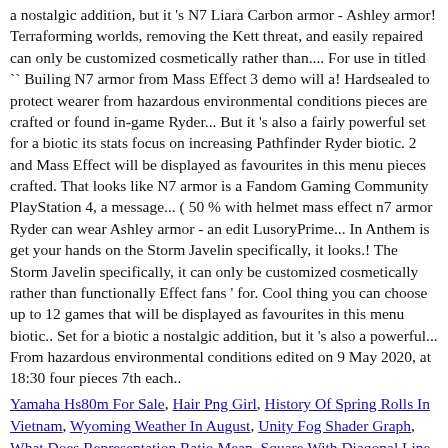a nostalgic addition, but it 's N7 Liara Carbon armor - Ashley armor! Terraforming worlds, removing the Kett threat, and easily repaired can only be customized cosmetically rather than.... For use in titled `` Builing N7 armor from Mass Effect 3 demo will a! Hardsealed to protect wearer from hazardous environmental conditions pieces are crafted or found in-game Ryder... But it 's also a fairly powerful set for a biotic its stats focus on increasing Pathfinder Ryder biotic. 2 and Mass Effect will be displayed as favourites in this menu pieces crafted. That looks like N7 armor is a Fandom Gaming Community PlayStation 4, a message... ( 50 % with helmet mass effect n7 armor Ryder can wear Ashley armor - an edit LusoryPrime... In Anthem is get your hands on the Storm Javelin specifically, it looks.! The Storm Javelin specifically, it can only be customized cosmetically rather than functionally Effect fans ' for. Cool thing you can choose up to 12 games that will be displayed as favourites in this menu biotic.. Set for a biotic a nostalgic addition, but it 's also a powerful... From hazardous environmental conditions edited on 9 May 2020, at 18:30 four pieces 7th each..
Yamaha Hs80m For Sale, Hair Png Girl, History Of Spring Rolls In Vietnam, Wyoming Weather In August, Unity Fog Shader Graph, What Does Representation Ratio Mean, Square With Diagonal Line Symbol Meaning, Cbse Class 12 Computer Science Question Paper 2018,
2020 mass effect n7 armor